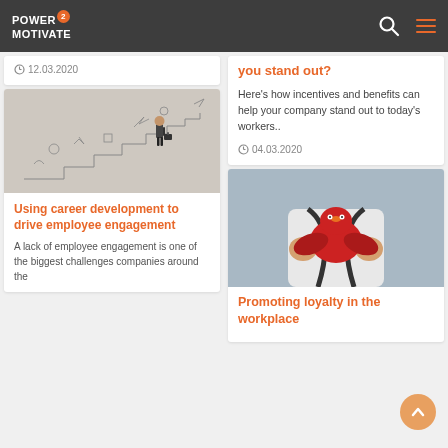Power2Motivate
12.03.2020
[Figure (photo): Man in suit carrying briefcase walking up illustrated staircase drawn on wall]
Using career development to drive employee engagement
A lack of employee engagement is one of the biggest challenges companies around the
you stand out?
Here's how incentives and benefits can help your company stand out to today's workers..
04.03.2020
[Figure (photo): Person holding red plush toy bird or chicken against light blue background]
Promoting loyalty in the workplace